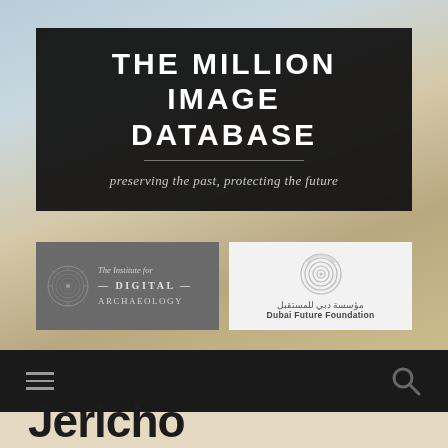[Figure (screenshot): Website header for The Million Image Database with background desert landscape photo]
THE MILLION IMAGE DATABASE
preserving the past, protecting the future
[Figure (logo): The Institute for Digital Archaeology logo - dark grey box with circular emblem and text]
[Figure (logo): Dubai Future Foundation logo - white box with concentric circles emblem and Arabic text plus English text]
[Figure (screenshot): Navigation bar with hamburger menu icon on left and search icon on right]
Jericho